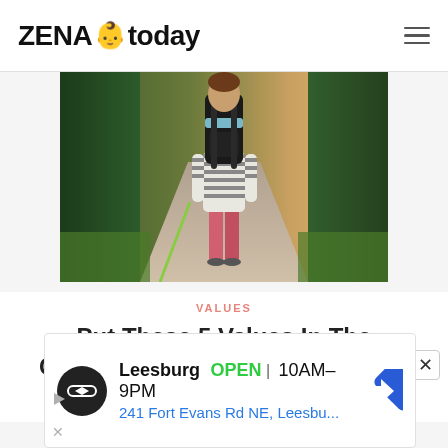ZENA today
[Figure (photo): A child from behind wearing a striped shirt and carrying a large black backpack, walking along a path flanked by green fences. The child is wearing pink pants. Back-to-school theme.]
VALUES
Put These 5 Values In The Children's Backpack When They Go Back To School
[Figure (other): Advertisement banner for a Leesburg store, showing store logo, OPEN status, hours 10AM-9PM, and address 241 Fort Evans Rd NE, Leesbu...]